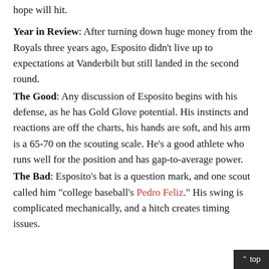hope will hit.
Year in Review: After turning down huge money from the Royals three years ago, Esposito didn't live up to expectations at Vanderbilt but still landed in the second round.
The Good: Any discussion of Esposito begins with his defense, as he has Gold Glove potential. His instincts and reactions are off the charts, his hands are soft, and his arm is a 65-70 on the scouting scale. He's a good athlete who runs well for the position and has gap-to-average power.
The Bad: Esposito's bat is a question mark, and one scout called him "college baseball's Pedro Feliz." His swing is complicated mechanically, and a hitch creates timing issues.